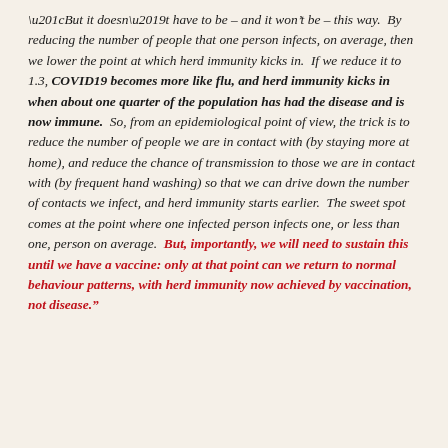“But it doesn’t have to be – and it won’t be – this way.  By reducing the number of people that one person infects, on average, then we lower the point at which herd immunity kicks in.  If we reduce it to 1.3, COVID19 becomes more like flu, and herd immunity kicks in when about one quarter of the population has had the disease and is now immune.  So, from an epidemiological point of view, the trick is to reduce the number of people we are in contact with (by staying more at home), and reduce the chance of transmission to those we are in contact with (by frequent hand washing) so that we can drive down the number of contacts we infect, and herd immunity starts earlier.  The sweet spot comes at the point where one infected person infects one, or less than one, person on average.  But, importantly, we will need to sustain this until we have a vaccine: only at that point can we return to normal behaviour patterns, with herd immunity now achieved by vaccination, not disease.”